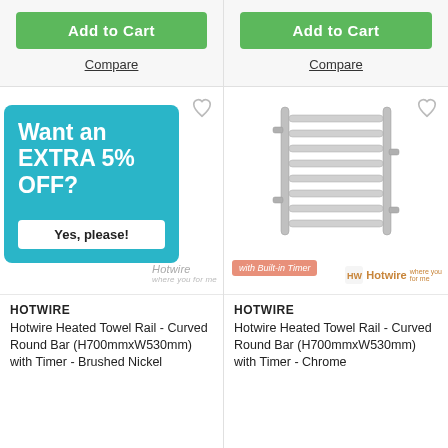[Figure (screenshot): Add to Cart button (green) and Compare link for left product column]
[Figure (screenshot): Promotional overlay with teal background: 'Want an EXTRA 5% OFF?' with 'Yes, please!' button and Hotwire watermark]
HOTWIRE
Hotwire Heated Towel Rail - Curved Round Bar (H700mmxW530mm) with Timer - Brushed Nickel
[Figure (screenshot): Add to Cart button (green) and Compare link for right product column]
[Figure (photo): Hotwire Heated Towel Rail - chrome curved round bar with 8 horizontal bars, wall-mounted, with Built-in Timer badge and Hotwire logo]
HOTWIRE
Hotwire Heated Towel Rail - Curved Round Bar (H700mmxW530mm) with Timer - Chrome